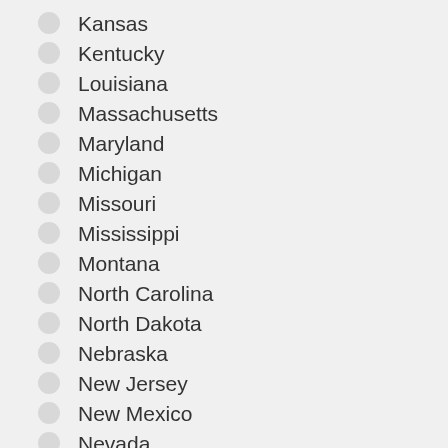Kansas
Kentucky
Louisiana
Massachusetts
Maryland
Michigan
Missouri
Mississippi
Montana
North Carolina
North Dakota
Nebraska
New Jersey
New Mexico
Nevada